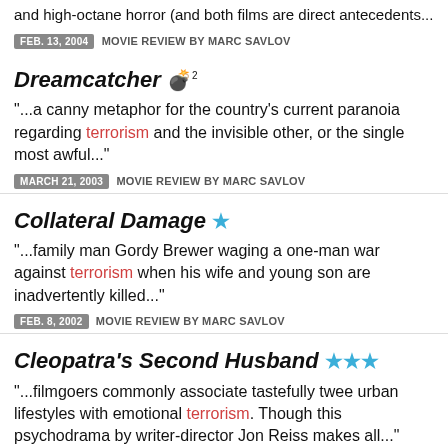and high-octane horror (and both films are direct antecedents...
FEB. 13, 2004  MOVIE REVIEW BY MARC SAVLOV
Dreamcatcher 💣
"...a canny metaphor for the country's current paranoia regarding terrorism and the invisible other, or the single most awful..."
MARCH 21, 2003  MOVIE REVIEW BY MARC SAVLOV
Collateral Damage ★
"...family man Gordy Brewer waging a one-man war against terrorism when his wife and young son are inadvertently killed..."
FEB. 8, 2002  MOVIE REVIEW BY MARC SAVLOV
Cleopatra's Second Husband ★★★
"...filmgoers commonly associate tastefully twee urban lifestyles with emotional terrorism. Though this psychodrama by writer-director Jon Reiss makes all..."
DEC. 8, 2000  MOVIE REVIEW BY MARRIT INGMAN
Information is power. Support the free press, so we can support Austin. SUPPORT THE CHRONICLE →